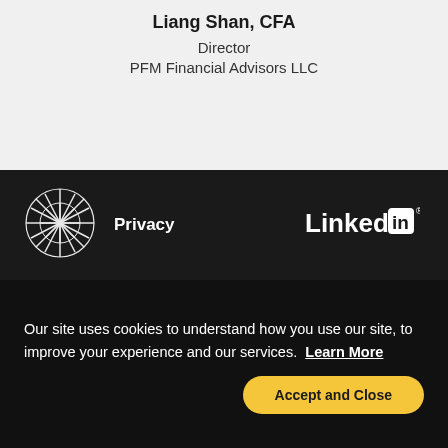Liang Shan, CFA
Director
PFM Financial Advisors LLC
[Figure (logo): PFM logo with geometric circular pattern made of intersecting lines]
Privacy
[Figure (logo): LinkedIn logo - white text 'Linked' with 'in' in white square on blue background]
Our site uses cookies to understand how you use our site, to improve your experience and our services. Learn More
Accept and Close